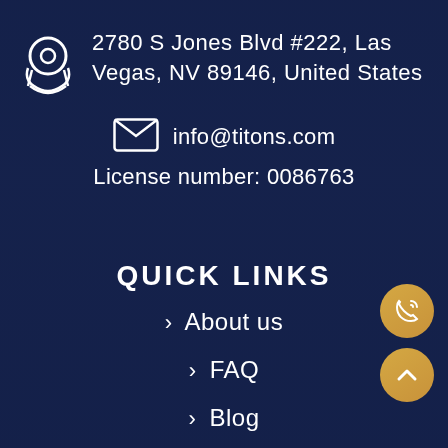2780 S Jones Blvd #222, Las Vegas, NV 89146, United States
info@titons.com
License number: 0086763
QUICK LINKS
› About us
› FAQ
› Blog